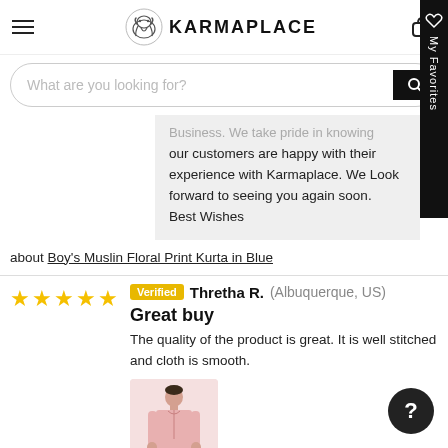KARMAPLACE
What are you looking for?
our customers are happy with their experience with Karmaplace. We Look forward to seeing you again soon. Best Wishes
about Boy's Muslin Floral Print Kurta in Blue
Verified Thretha R. (Albuquerque, US)
Great buy
The quality of the product is great. It is well stitched and cloth is smooth.
[Figure (photo): Man wearing a pink kurta]